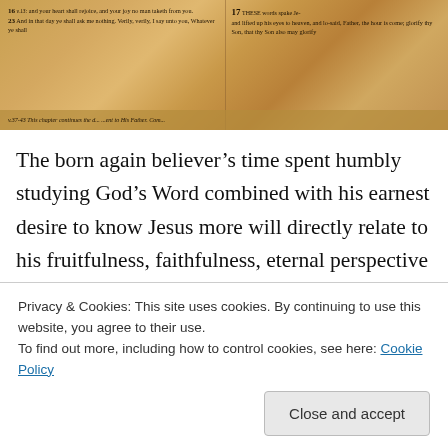[Figure (photo): Close-up photograph of an open Bible showing printed scripture text in two columns with verse numbers, warm golden/amber tones]
The born again believer’s time spent humbly studying God’s Word combined with his earnest desire to know Jesus more will directly relate to his fruitfulness, faithfulness, eternal perspective and satisfaction, peace, heavenly wisdom, discernment, grace, mercy, forgiveness, love, victory, rest, and joy in the Holy Spirit.
If we’re lacking in anything, may we cease from sitting at
Privacy & Cookies: This site uses cookies. By continuing to use this website, you agree to their use.
To find out more, including how to control cookies, see here: Cookie Policy
Close and accept